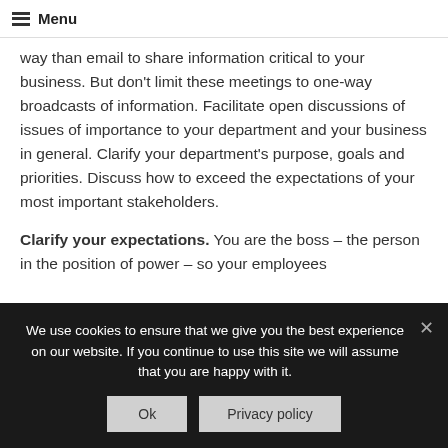Menu
way than email to share information critical to your business. But don't limit these meetings to one-way broadcasts of information. Facilitate open discussions of issues of importance to your department and your business in general. Clarify your department's purpose, goals and priorities. Discuss how to exceed the expectations of your most important stakeholders.
Clarify your expectations. You are the boss – the person in the position of power – so your employees
We use cookies to ensure that we give you the best experience on our website. If you continue to use this site we will assume that you are happy with it.